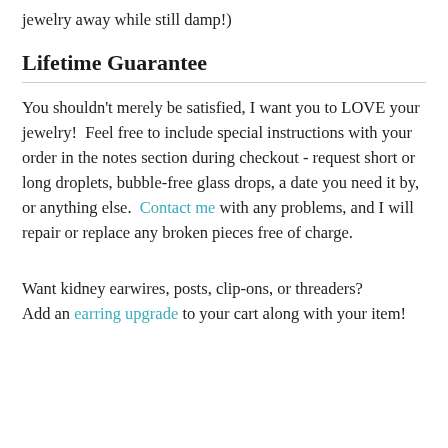jewelry away while still damp!)
Lifetime Guarantee
You shouldn't merely be satisfied, I want you to LOVE your jewelry!  Feel free to include special instructions with your order in the notes section during checkout - request short or long droplets, bubble-free glass drops, a date you need it by, or anything else.  Contact me with any problems, and I will repair or replace any broken pieces free of charge.
Want kidney earwires, posts, clip-ons, or threaders?
Add an earring upgrade to your cart along with your item!